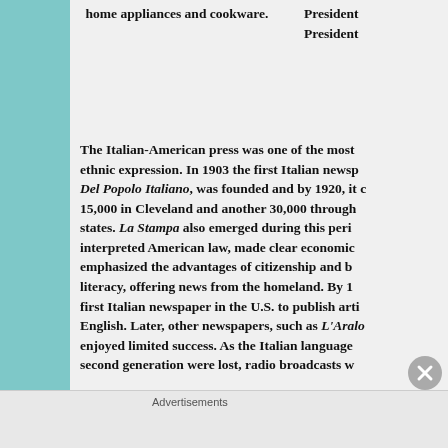home appliances and cookware.
President
President
The Italian-American press was one of the most ethnic expression. In 1903 the first Italian newspaper, Del Popolo Italiano, was founded and by 1920, it circulated 15,000 in Cleveland and another 30,000 throughout states. La Stampa also emerged during this period, interpreted American law, made clear economics, emphasized the advantages of citizenship and biliteracy, offering news from the homeland. By 19, first Italian newspaper in the U.S. to publish articles in English. Later, other newspapers, such as L'Araldo enjoyed limited success. As the Italian language of second generation were lost, radio broadcasts became more popular. By the 1990’s a renew
Advertisements